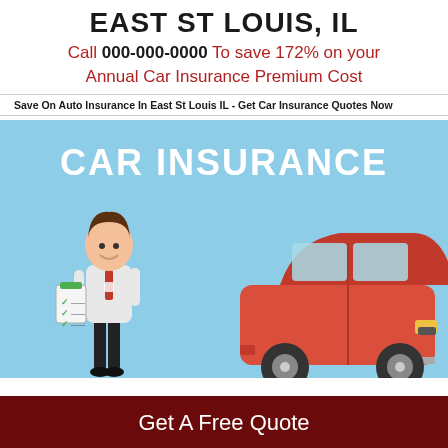EAST ST LOUIS, IL
Call 000-000-0000 To save 172% on your Annual Car Insurance Premium Cost
Save On Auto Insurance In East St Louis IL - Get Car Insurance Quotes Now
[Figure (illustration): Car insurance illustration with a person holding a checklist standing next to a red car on a light blue background with text 'CAR INSURANCE']
Get A Free Quote